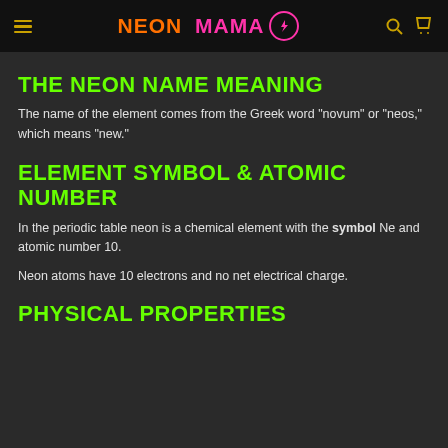NEON MAMA
THE NEON NAME MEANING
The name of the element comes from the Greek word "novum" or "neos," which means "new."
ELEMENT SYMBOL & ATOMIC NUMBER
In the periodic table neon is a chemical element with the symbol Ne and atomic number 10.
Neon atoms have 10 electrons and no net electrical charge.
PHYSICAL PROPERTIES